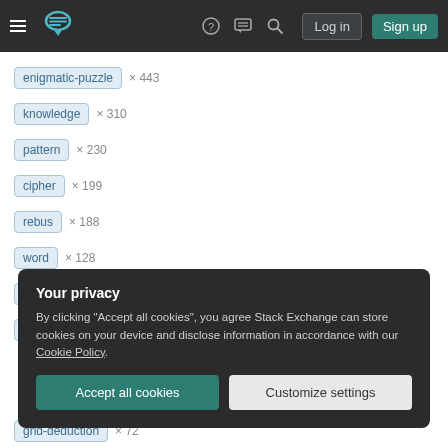Stack Exchange navigation bar with hamburger menu, logo, help, chat, search icons, Log in and Sign up buttons
enigmatic-puzzle × 443
knowledge × 310
pattern × 230
cipher × 199
rebus × 188
word × 128
mathematics × 112
logical-deduction × 112
Your privacy
By clicking "Accept all cookies", you agree Stack Exchange can store cookies on your device and disclose information in accordance with our Cookie Policy.
Accept all cookies  Customize settings
grid-deduction × 72